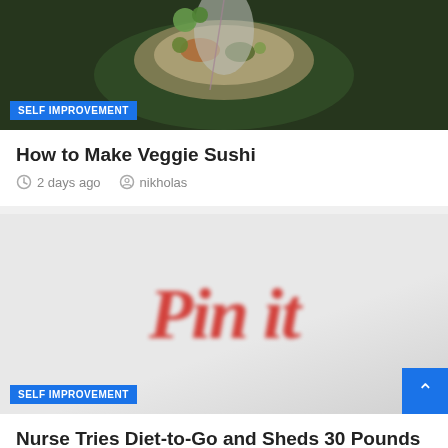[Figure (photo): Food photo showing veggie sushi with greens on dark background]
How to Make Veggie Sushi
2 days ago   nikholas
[Figure (photo): Blurred Pinterest 'Pin it' button overlay on gray background with SELF IMPROVEMENT badge]
Nurse Tries Diet-to-Go and Sheds 30 Pounds
3 days ago   nikholas